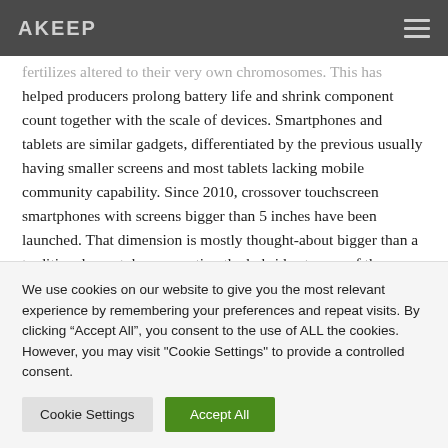AKEEP
fertilizes altered to their very own chromosomes. This has helped producers prolong battery life and shrink component count together with the scale of devices. Smartphones and tablets are similar gadgets, differentiated by the previous usually having smaller screens and most tablets lacking mobile community capability. Since 2010, crossover touchscreen smartphones with screens bigger than 5 inches have been launched. That dimension is mostly thought-about bigger than a traditional smartphone, creating the hybrid category of the phablet by Forbes and different publications. “Phablet” is a portmanteau of
We use cookies on our website to give you the most relevant experience by remembering your preferences and repeat visits. By clicking “Accept All”, you consent to the use of ALL the cookies. However, you may visit “Cookie Settings” to provide a controlled consent.